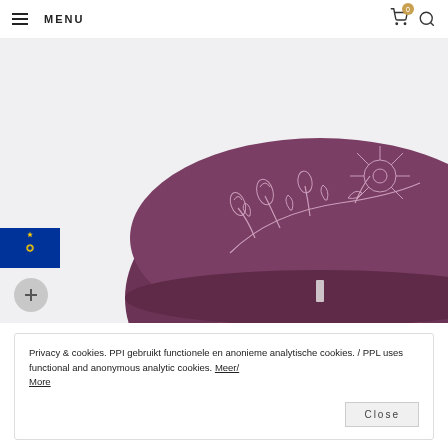MENU
[Figure (photo): A purple/burgundy half-moon meditation cushion (zafu) with white floral magnolia branch embroidery on top, photographed against a light background. A small white label tag is visible on the front edge.]
[Figure (illustration): European Union flag — blue rectangle with a circle of 12 yellow stars]
Privacy & cookies. PPI gebruikt functionele en anonieme analytische cookies. / PPL uses functional and anonymous analytic cookies. Meer/ More
Close